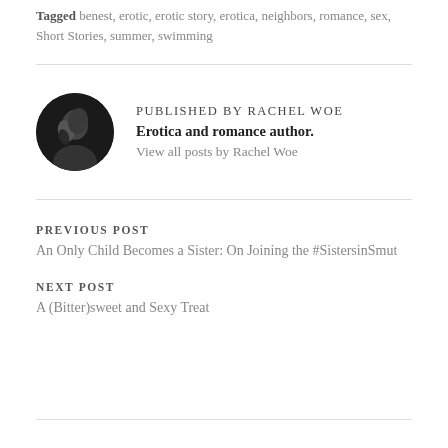Tagged benest, erotic, erotic story, erotica, neighbors, romance, sex, Short Stories, summer, swimming
PUBLISHED BY RACHEL WOE
Erotica and romance author.
View all posts by Rachel Woe
PREVIOUS POST
An Only Child Becomes a Sister: On Joining the #SistersinSmut
NEXT POST
A (Bitter)sweet and Sexy Treat